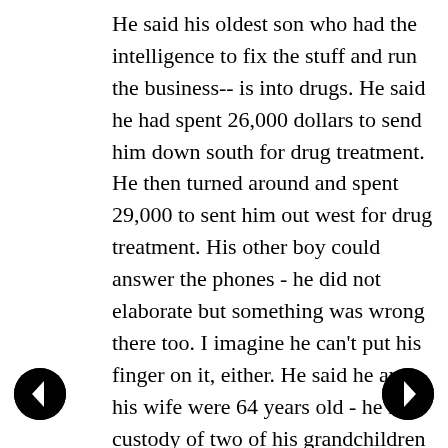He said his oldest son who had the intelligence to fix the stuff and run the business-- is into drugs. He said he had spent 26,000 dollars to send him down south for drug treatment. He then turned around and spent 29,000 to sent him out west for drug treatment. His other boy could answer the phones - he did not elaborate but something was wrong there too. I imagine he can't put his finger on it, either. He said he and his wife were 64 years old - he has custody of two of his grandchildren from his first son.
He said he saw no one to continue his business, once he closed the business and was not sure what his youngest son would do. . What will our community do without hard working repair service people???
But more than that - my heart aches for this